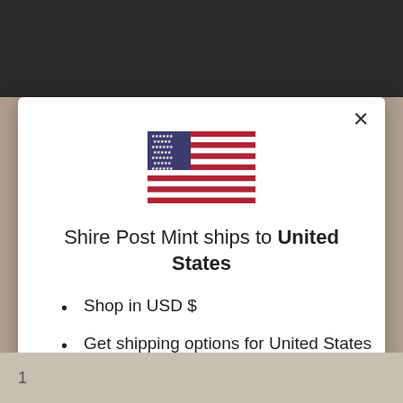[Figure (screenshot): Top background area showing decorative copper coin/medallion on dark background]
Shire Post Mint ships to United States
Shop in USD $
Get shipping options for United States
Shop now
Night's Wa...
Char 20.00 CAD 18.00 CAD
★★★★★ (15)
Add to cart
1